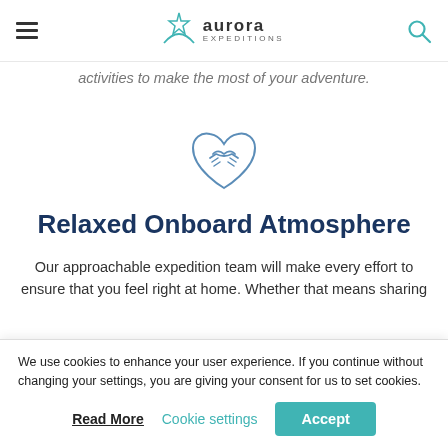aurora expeditions
activities to make the most of your adventure.
[Figure (illustration): Heart-shaped handshake icon outlined in teal/blue, representing community and friendship]
Relaxed Onboard Atmosphere
Our approachable expedition team will make every effort to ensure that you feel right at home. Whether that means sharing tales of adventure at the bar, dining in friendly groups or heading up to the bridge in your pyjamas for a polar bear
We use cookies to enhance your user experience. If you continue without changing your settings, you are giving your consent for us to set cookies.
Read More   Cookie settings   Accept